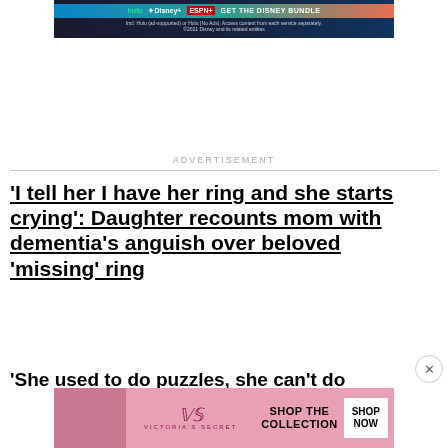[Figure (screenshot): Disney Bundle advertisement banner showing Hulu, Disney+, and ESPN+ logos with 'GET THE DISNEY BUNDLE' text and fine print]
ADVERTISEMENT
'I tell her I have her ring and she starts crying': Daughter recounts mom with dementia's anguish over beloved 'missing' ring
'She used to do puzzles, she can't do
[Figure (screenshot): Victoria's Secret advertisement showing a model with 'SHOP THE COLLECTION' and 'SHOP NOW' button]